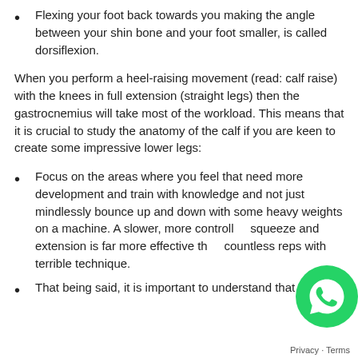Flexing your foot back towards you making the angle between your shin bone and your foot smaller, is called dorsiflexion.
When you perform a heel-raising movement (read: calf raise) with the knees in full extension (straight legs) then the gastrocnemius will take most of the workload. This means that it is crucial to study the anatomy of the calf if you are keen to create some impressive lower legs:
Focus on the areas where you feel that need more development and train with knowledge and not just mindlessly bounce up and down with some heavy weights on a machine. A slower, more controlled squeeze and extension is far more effective than countless reps with terrible technique.
That being said, it is important to understand that